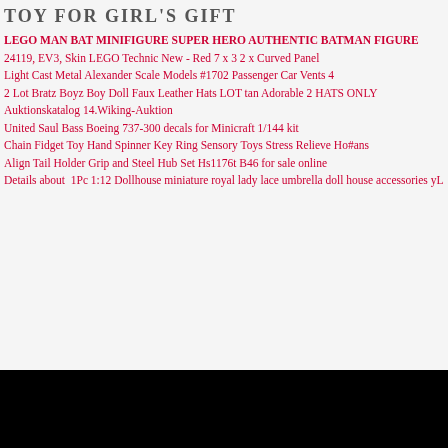TOY FOR GIRL'S GIFT
LEGO MAN BAT MINIFIGURE SUPER HERO AUTHENTIC BATMAN FIGURE
24119, EV3, Skin LEGO Technic New - Red 7 x 3 2 x Curved Panel
Light Cast Metal Alexander Scale Models #1702 Passenger Car Vents 4
2 Lot Bratz Boyz Boy Doll Faux Leather Hats LOT tan Adorable 2 HATS ONLY
Auktionskatalog 14.Wiking-Auktion
United Saul Bass Boeing 737-300 decals for Minicraft 1/144 kit
Chain Fidget Toy Hand Spinner Key Ring Sensory Toys Stress Relieve Ho#ans
Align Tail Holder Grip and Steel Hub Set Hs1176t B46 for sale online
Details about  1Pc 1:12 Dollhouse miniature royal lady lace umbrella doll house accessories yL